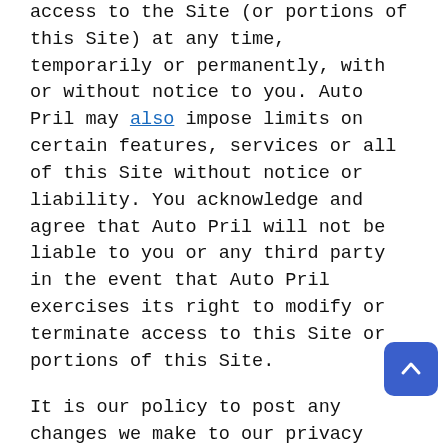access to the Site (or portions of this Site) at any time, temporarily or permanently, with or without notice to you. Auto Pril may also impose limits on certain features, services or all of this Site without notice or liability. You acknowledge and agree that Auto Pril will not be liable to you or any third party in the event that Auto Pril exercises its right to modify or terminate access to this Site or portions of this Site.
It is our policy to post any changes we make to our privacy policy on this page. If we make material changes to how we treat our users' personal information, we will notify you through a notice on the Website home page. The date the privacy policy was last revised is identified at the top of the page. You are responsible for ensuring we have an up-to-date active and deliverable email address for you, and for periodically visiting our Website and this privacy policy to check for any changes.